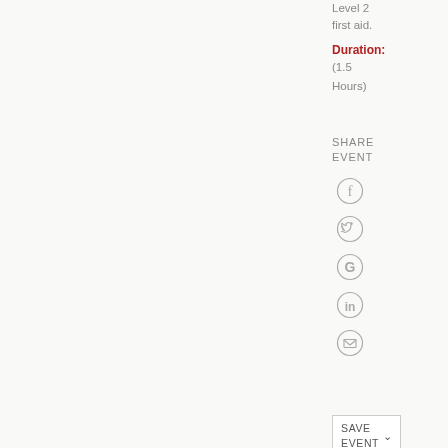Level 2 first aid.
Duration: (1.5 Hours)
SHARE EVENT
[Figure (illustration): Social media share icons: Facebook, Twitter, Google+, LinkedIn, Email]
SAVE EVENT